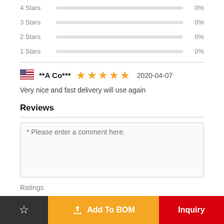4 Stars 0%
3 Stars 0%
2 Stars 0%
1 Stars 0%
**A Co*** ★★★★★ 2020-04-07
Very nice and fast delivery will use again
Reviews
* Please enter a comment here.
Ratings